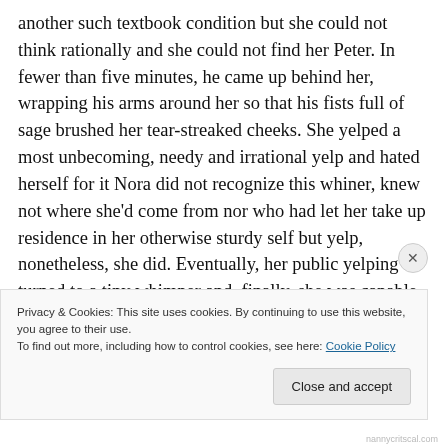another such textbook condition but she could not think rationally and she could not find her Peter. In fewer than five minutes, he came up behind her, wrapping his arms around her so that his fists full of sage brushed her tear-streaked cheeks. She yelped a most unbecoming, needy and irrational yelp and hated herself for it Nora did not recognize this whiner, knew not where she'd come from nor who had let her take up residence in her otherwise sturdy self but yelp, nonetheless, she did. Eventually, her public yelping turned to a tiny whimper and, finally, she was capable
Privacy & Cookies: This site uses cookies. By continuing to use this website, you agree to their use.
To find out more, including how to control cookies, see here: Cookie Policy
Close and accept
nannycritscal.com